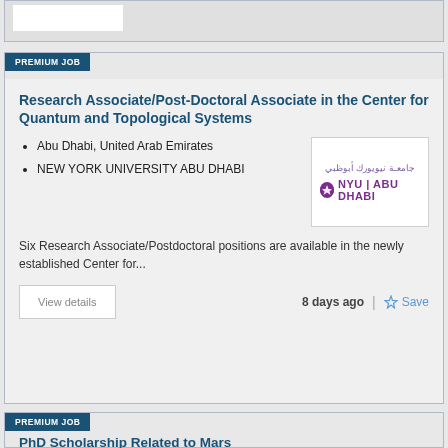[Figure (other): Partial top card with a white rectangle visible, cut off at top of page]
PREMIUM JOB
Research Associate/Post-Doctoral Associate in the Center for Quantum and Topological Systems
Abu Dhabi, United Arab Emirates
NEW YORK UNIVERSITY ABU DHABI
[Figure (logo): NYU Abu Dhabi logo with Arabic text and purple NYU shield icon]
Six Research Associate/Postdoctoral positions are available in the newly established Center for...
View details
8 days ago
Save
PREMIUM JOB
PhD Scholarship Related to Mars